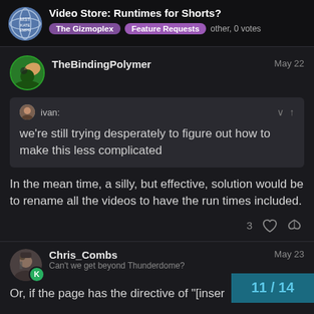Video Store: Runtimes for Shorts? — The Gizmoplex | Feature Requests | other, 0 votes
TheBindingPolymer — May 22
ivan:
we're still trying desperately to figure out how to make this less complicated
In the mean time, a silly, but effective, solution would be to rename all the videos to have the run times included.
3
Chris_Combs — Can't we get beyond Thunderdome? — May 23
Or, if the page has the directive of "[inser